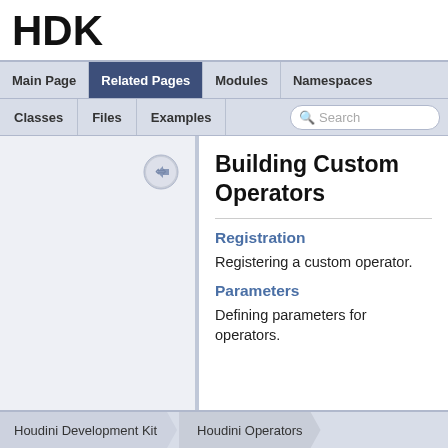HDK
Main Page | Related Pages | Modules | Namespaces | Classes | Files | Examples | Search
Building Custom Operators
Registration
Registering a custom operator.
Parameters
Defining parameters for operators.
Houdini Development Kit  Houdini Operators